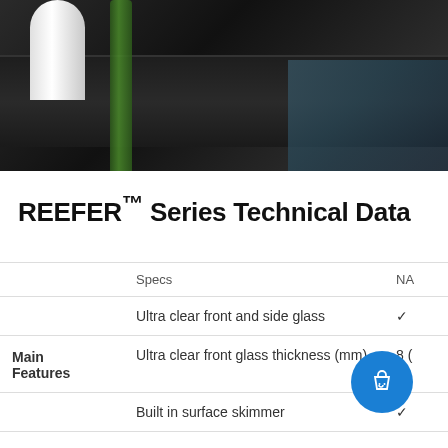[Figure (photo): Close-up photo of aquarium equipment showing a white tube/skimmer component and green glass bottle in a dark tray, with reflective surfaces visible]
REEFER™ Series Technical Data
|  | Specs | NA |
| --- | --- | --- |
|  | Ultra clear front and side glass | ✓ |
| Main Features | Ultra clear front glass thickness (mm) | 8 ( |
|  | Built in surface skimmer | ✓ |